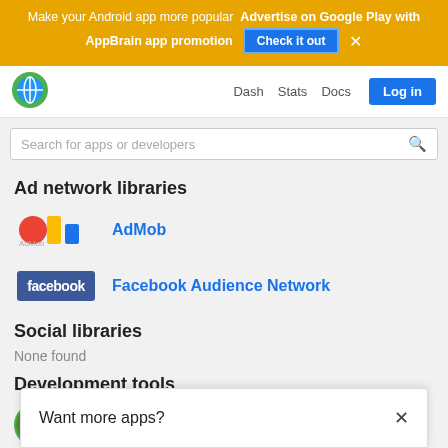Make your Android app more popular  Advertise on Google Play with AppBrain app promotion  [Check it out]  ×
[Figure (logo): AppBrain globe logo in navbar]
Dash  Stats  Docs  Log in
Search for apps or developers
Ad network libraries
AdMob
Facebook Audience Network
Social libraries
None found
Development tools
Android Jetpack core
Androi[d...]
Fireba[se...]
Want more apps?